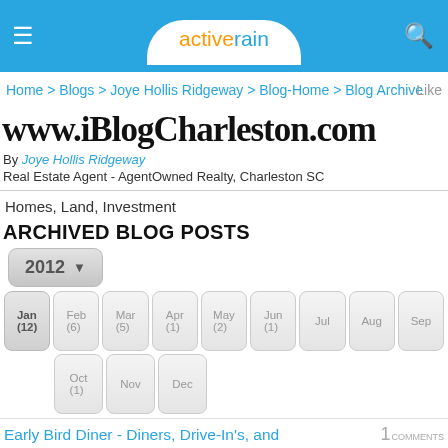activerain
Home > Blogs > Joye Hollis Ridgeway > Blog-Home > Blog Archive
www.iBlogCharleston.com
By Joye Hollis Ridgeway
Real Estate Agent - AgentOwned Realty, Charleston SC
Homes, Land, Investment
ARCHIVED BLOG POSTS
2012 ▾
Jan (12)  Feb (6)  Mar (5)  Apr (1)  May (2)  Jun (1)  Jul  Aug  Sep
Oct (1)  Nov  Dec
Early Bird Diner - Diners, Drive-In's, and
1 COMMENTS